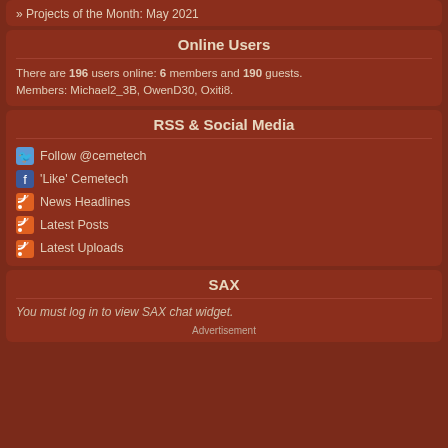» Projects of the Month: May 2021
Online Users
There are 196 users online: 6 members and 190 guests.
Members: Michael2_3B, OwenD30, Oxiti8.
RSS & Social Media
Follow @cemetech
'Like' Cemetech
News Headlines
Latest Posts
Latest Uploads
SAX
You must log in to view SAX chat widget.
Advertisement